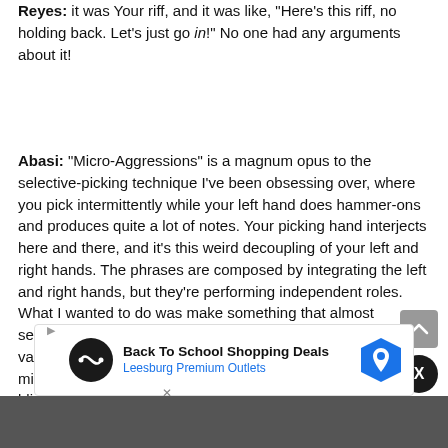Reyes: it was Your riff, and it was like, ‘Here’s this riff, no holding back. Let’s just go in!” No one had any arguments about it!
Abasi: “Micro-Aggressions” is a magnum opus to the selective-picking technique I’ve been obsessing over, where you pick intermittently while your left hand does hammer-ons and produces quite a lot of notes. Your picking hand interjects here and there, and it’s this weird decoupling of your left and right hands. The phrases are composed by integrating the left and right hands, but they’re performing independent roles. What I wanted to do was make something that almost seemed like a classical piece, so there’s a lot of even note values and a lot of the harmony is natural minor, melodic minor, and harmonic minor. I just wanted a high-BPM blistering thing, but forcing myself to use selective picking throughout the entire thing.
[Figure (infographic): Advertisement banner for Back To School Shopping Deals at Leesburg Premium Outlets, with infinity loop icon and map pin icon]